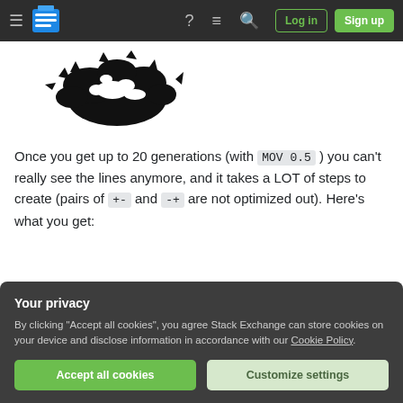Stack Exchange navigation bar with hamburger menu, logo, help, chat, search, Log in, Sign up
[Figure (illustration): Fractal image (Koch snowflake-like fractal, black on white) at top of content area]
Once you get up to 20 generations (with MOV 0.5 ) you can't really see the lines anymore, and it takes a LOT of steps to create (pairs of +- and -+ are not optimized out). Here's what you get:
[Figure (illustration): Fractal image (Koch-like fractal, black on white) partially visible at bottom of content area]
Your privacy
By clicking "Accept all cookies", you agree Stack Exchange can store cookies on your device and disclose information in accordance with our Cookie Policy.
Accept all cookies   Customize settings